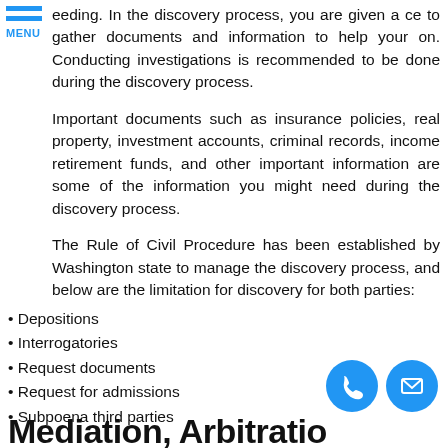eeding. In the discovery process, you are given a ce to gather documents and information to help your on. Conducting investigations is recommended to be done during the discovery process.
Important documents such as insurance policies, real property, investment accounts, criminal records, income retirement funds, and other important information are some of the information you might need during the discovery process.
The Rule of Civil Procedure has been established by Washington state to manage the discovery process, and below are the limitation for discovery for both parties:
Depositions
Interrogatories
Request documents
Request for admissions
Subpoena third parties
Mediation, Arbitratio